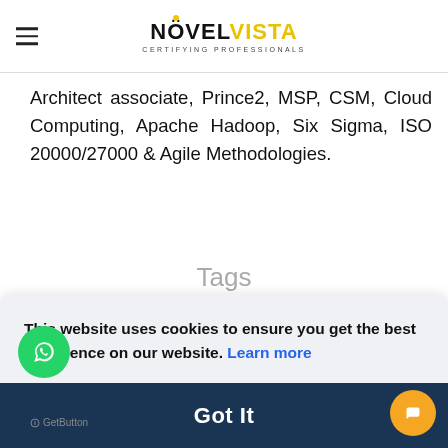NOVELVISTA — CERTIFYING PROFESSIONALS
Architect associate, Prince2, MSP, CSM, Cloud Computing, Apache Hadoop, Six Sigma, ISO 20000/27000 & Agile Methodologies.
Tags
python interview question
python question and answers
This website uses cookies to ensure you get the best experience on our website. Learn more
Got It